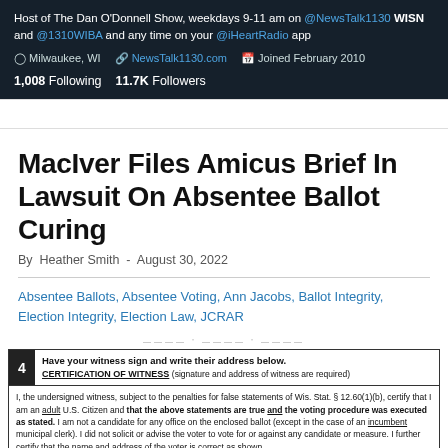Host of The Dan O'Donnell Show, weekdays 9-11 am on @NewsTalk1130 WISN and @1310WIBA and any time on your @iHeartRadio app
Milwaukee, WI  NewsTalk1130.com  Joined February 2010
1,008 Following  11.7K Followers
MacIver Files Amicus Brief In Lawsuit On Absentee Ballot Curing
By Heather Smith - August 30, 2022
Absentee Ballots, Absentee Voting, Ann Jacobs, Ballot Integrity, Election Integrity, Election Law, JCRAR
[Figure (other): Certification of Witness section from an absentee ballot form, showing step 4 instructions and certification text about witness signature and address requirements.]